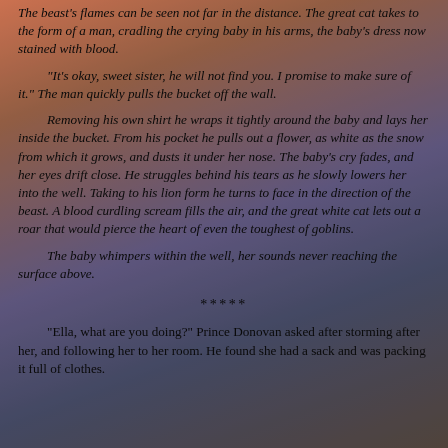The beast's flames can be seen not far in the distance. The great cat takes to the form of a man, cradling the crying baby in his arms, the baby's dress now stained with blood.
"It's okay, sweet sister, he will not find you. I promise to make sure of it." The man quickly pulls the bucket off the wall.
Removing his own shirt he wraps it tightly around the baby and lays her inside the bucket. From his pocket he pulls out a flower, as white as the snow from which it grows, and dusts it under her nose. The baby's cry fades, and her eyes drift close. He struggles behind his tears as he slowly lowers her into the well. Taking to his lion form he turns to face in the direction of the beast. A blood curdling scream fills the air, and the great white cat lets out a roar that would pierce the heart of even the toughest of goblins.
The baby whimpers within the well, her sounds never reaching the surface above.
*****
"Ella, what are you doing?" Prince Donovan asked after storming after her, and following her to her room. He found she had a sack and was packing it full of clothes.